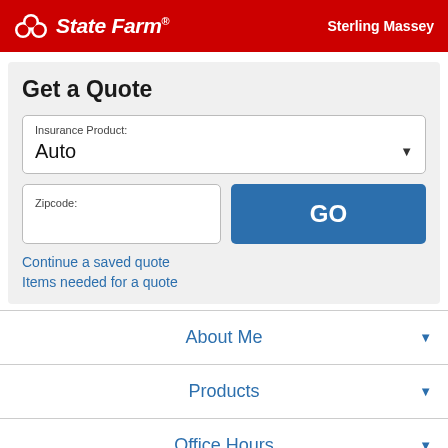State Farm — Sterling Massey
Get a Quote
Insurance Product: Auto
Zipcode:
GO
Continue a saved quote
Items needed for a quote
About Me
Products
Office Hours